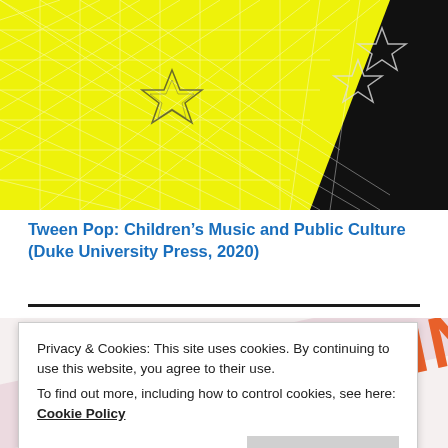[Figure (illustration): Book cover for Tween Pop: Children's Music and Public Culture, showing a yellow geometric triangle-pattern background with black section and outlined stars]
Tween Pop: Children's Music and Public Culture (Duke University Press, 2020)
[Figure (photo): Partial book cover showing 'SCHOOLING' in large orange letters and partial pink text below, tilted/angled]
Privacy & Cookies: This site uses cookies. By continuing to use this website, you agree to their use.
To find out more, including how to control cookies, see here: Cookie Policy
Close and accept